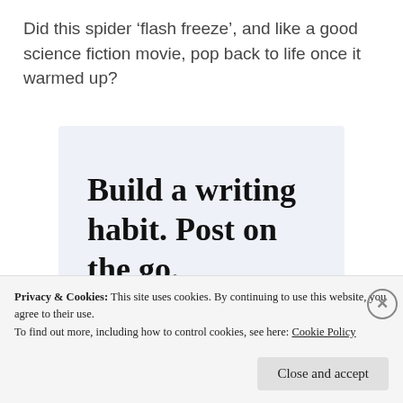Did this spider ‘flash freeze’, and like a good science fiction movie, pop back to life once it warmed up?
[Figure (infographic): Advertisement box with light blue background. Headline reads 'Build a writing habit. Post on the go.' with a 'GET THE APP' call to action in blue uppercase text and a WordPress logo icon in the bottom right corner.]
Privacy & Cookies: This site uses cookies. By continuing to use this website, you agree to their use.
To find out more, including how to control cookies, see here: Cookie Policy
Close and accept